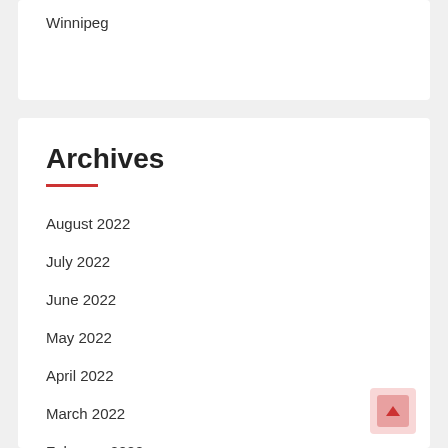Winnipeg
Archives
August 2022
July 2022
June 2022
May 2022
April 2022
March 2022
February 2022
January 2022